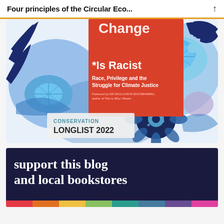Four principles of the Circular Eco...
[Figure (photo): Book cover showing 'Climate Change *Is Racist: Race, Privilege and the Struggle for Climate Justice' with foreword by Dr Shola Mos-Shogbamimu. The cover features decorative blue floral and turtle illustrations on a white background with a red/orange rectangular panel. A badge reads 'CONSERVATION LONGLIST 2022'.]
[Figure (infographic): Dark navy blue promotional banner reading 'support this blog and local bookstores' with a colorful strip at the bottom.]